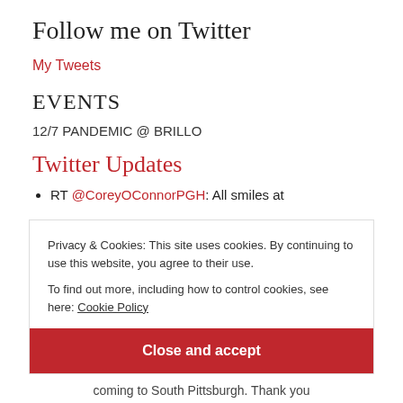Follow me on Twitter
My Tweets
EVENTS
12/7 PANDEMIC @ BRILLO
Twitter Updates
RT @CoreyOConnorPGH: All smiles at
Privacy & Cookies: This site uses cookies. By continuing to use this website, you agree to their use.
To find out more, including how to control cookies, see here: Cookie Policy
Close and accept
coming to South Pittsburgh. Thank you